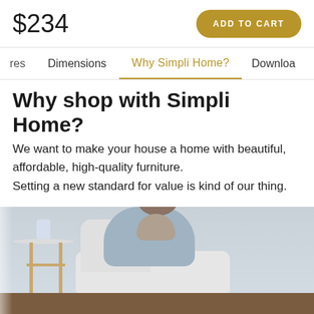$234
ADD TO CART
res   Dimensions   Why Simpli Home?   Downloa
Why shop with Simpli Home?
We want to make your house a home with beautiful, affordable, high-quality furniture. Setting a new standard for value is kind of our thing.
[Figure (photo): Person relaxing in a white armchair with a cat, next to a gold-legged round side table, in a light grey room with wood flooring.]